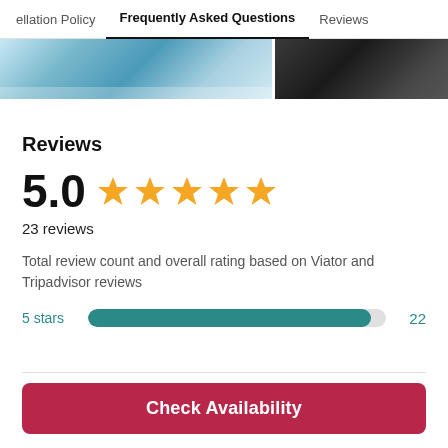ellation Policy   Frequently Asked Questions   Reviews
[Figure (photo): Two cropped photos side by side: left shows a snowy ocean/glacier scene in blue-white tones, right shows a dark rocky scene.]
Reviews
5.0 ★★★★★
23 reviews
Total review count and overall rating based on Viator and Tripadvisor reviews
5 stars   22
Check Availability